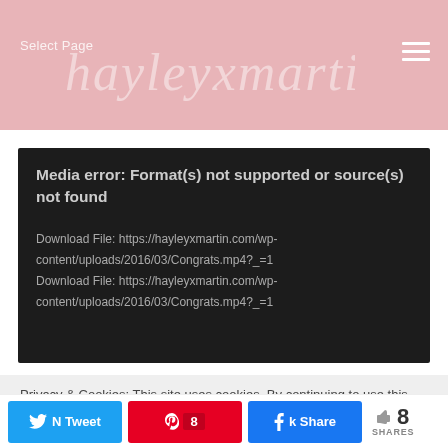hayleyxmartin
[Figure (screenshot): Media error box with dark background showing error message and download file links]
Media error: Format(s) not supported or source(s) not found

Download File: https://hayleyxmartin.com/wp-content/uploads/2016/03/Congrats.mp4?_=1
Download File: https://hayleyxmartin.com/wp-content/uploads/2016/03/Congrats.mp4?_=1
Privacy & Cookies: This site uses cookies. By continuing to use this website, you agree to their use.
To find out more, including how to control cookies, see here:
8 SHARES